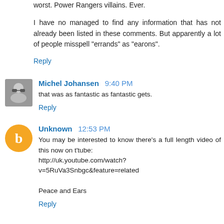worst. Power Rangers villains. Ever.
I have no managed to find any information that has not already been listed in these comments. But apparently a lot of people misspell "errands" as "earons".
Reply
Michel Johansen  9:40 PM
that was as fantastic as fantastic gets.
Reply
Unknown  12:53 PM
You may be interested to know there's a full length video of this now on t'tube:
http://uk.youtube.com/watch?v=5RuVa3Snbgc&feature=related

Peace and Ears
Reply